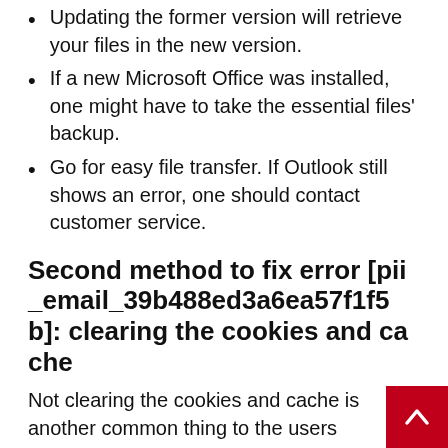Updating the former version will retrieve your files in the new version.
If a new Microsoft Office was installed, one might have to take the essential files' backup.
Go for easy file transfer. If Outlook still shows an error, one should contact customer service.
Second method to fix error [pii_email_39b488ed3a6ea57f1f5b]: clearing the cookies and cache
Not clearing the cookies and cache is another common thing to the users experiencing the error.
One should go to the File and option and go for clearing the Outlook cookies and cache.
Once done, one should log out of the Microsoft